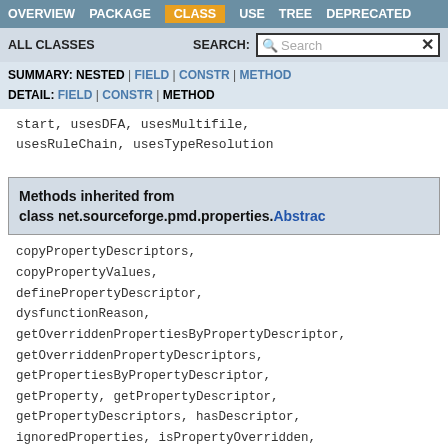OVERVIEW  PACKAGE  CLASS  USE  TREE  DEPRECATED
ALL CLASSES   SEARCH:  [Search]
SUMMARY: NESTED | FIELD | CONSTR | METHOD   DETAIL: FIELD | CONSTR | METHOD
start, usesDFA, usesMultifile, usesRuleChain, usesTypeResolution
Methods inherited from class net.sourceforge.pmd.properties.Abstrac
copyPropertyDescriptors, copyPropertyValues, definePropertyDescriptor, dysfunctionReason, getOverriddenPropertiesByPropertyDescriptor, getOverriddenPropertyDescriptors, getPropertiesByPropertyDescriptor, getProperty, getPropertyDescriptor, getPropertyDescriptors, hasDescriptor, ignoredProperties, isPropertyOverridden,